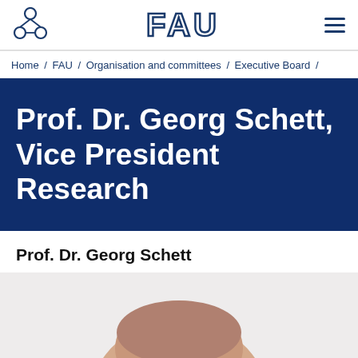FAU header with logo and navigation
Home / FAU / Organisation and committees / Executive Board /
Prof. Dr. Georg Schett, Vice President Research
Prof. Dr. Georg Schett
[Figure (photo): Portrait photo of Prof. Dr. Georg Schett, top of head visible, light background]